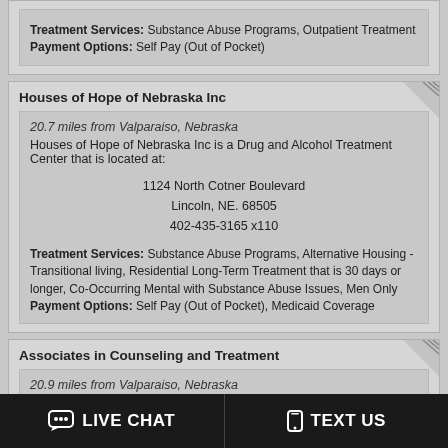Treatment Services: Substance Abuse Programs, Outpatient Treatment
Payment Options: Self Pay (Out of Pocket)
Houses of Hope of Nebraska Inc
20.7 miles from Valparaiso, Nebraska
Houses of Hope of Nebraska Inc is a Drug and Alcohol Treatment Center that is located at:
1124 North Cotner Boulevard
Lincoln, NE. 68505
402-435-3165 x110
Treatment Services: Substance Abuse Programs, Alternative Housing - Transitional living, Residential Long-Term Treatment that is 30 days or longer, Co-Occurring Mental with Substance Abuse Issues, Men Only
Payment Options: Self Pay (Out of Pocket), Medicaid Coverage
Associates in Counseling and Treatment
20.9 miles from Valparaiso, Nebraska
Associates in Counseling and Treatment is a Drug Abuse Rehab
LIVE CHAT   TEXT US